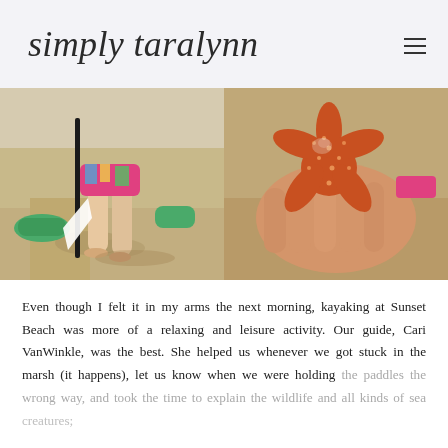simply taralynn
[Figure (photo): Two side-by-side beach photos: left shows a woman's legs in colorful shorts walking on sandy beach carrying a white paddle near green kayaks; right shows a close-up of an orange-brown starfish/sea star held in someone's hand on the beach.]
Even though I felt it in my arms the next morning, kayaking at Sunset Beach was more of a relaxing and leisure activity. Our guide, Cari VanWinkle, was the best. She helped us whenever we got stuck in the marsh (it happens), let us know when we were holding the paddles the wrong way, and took the time to explain the wildlife and all kinds of sea creatures; I didn't even put into words.